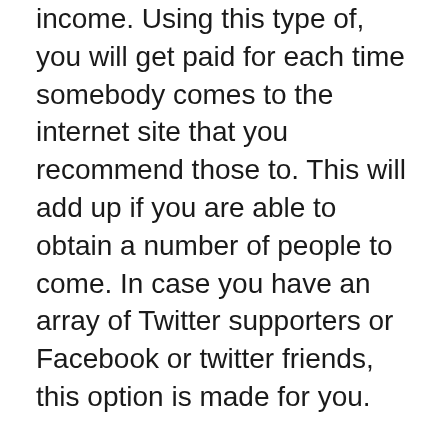income. Using this type of, you will get paid for each time somebody comes to the internet site that you recommend those to. This will add up if you are able to obtain a number of people to come. In case you have an array of Twitter supporters or Facebook or twitter friends, this option is made for you.
Don't get every single reserve about generating an income online. Most of the time, these publications can be bought by folks whose state they recognition is simply because they are training individuals how to earn money online. Before buying an e-reserve or publication about making dollars, ensure that you know a little bit regarding the publisher, and that you have seen testimonials about the guide.